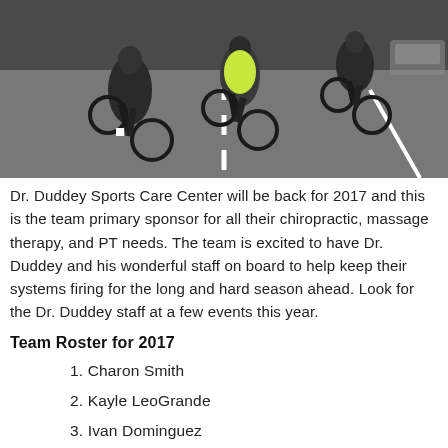[Figure (photo): Cyclists from behind riding on a road, wearing cycling gear, seen from a low angle. Multiple riders visible with road markings.]
Dr. Duddey Sports Care Center will be back for 2017 and this is the team primary sponsor for all their chiropractic, massage therapy, and PT needs. The team is excited to have Dr. Duddey and his wonderful staff on board to help keep their systems firing for the long and hard season ahead. Look for the Dr. Duddey staff at a few events this year.
Team Roster for 2017
1. Charon Smith
2. Kayle LeoGrande
3. Ivan Dominguez
4. Max Hernandez
5. Josh Alverson